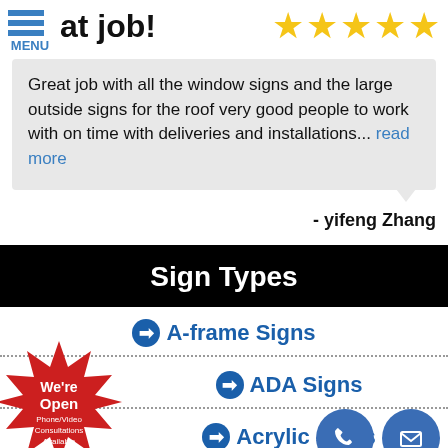at job!
[Figure (other): Five gold star rating icons]
Great job with all the window signs and the large outside signs for the roof very good people to work with on time with deliveries and installations... read more
- yifeng Zhang
Sign Types
A-frame Signs
ADA Signs
Acrylic Signs
[Figure (other): Red starburst badge: We're Open Phone/Video Consultations Available]
[Figure (other): Phone contact icon (blue circle with handset) and email contact icon (blue circle with envelope)]